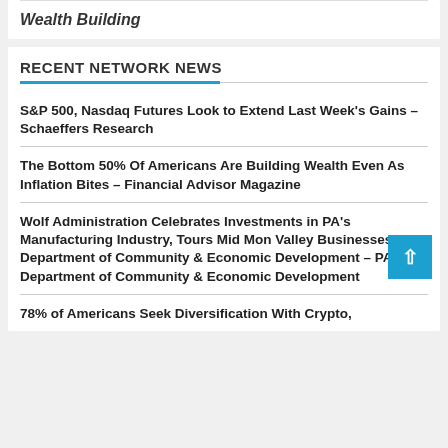Wealth Building
RECENT NETWORK NEWS
S&P 500, Nasdaq Futures Look to Extend Last Week's Gains – Schaeffers Research
The Bottom 50% Of Americans Are Building Wealth Even As Inflation Bites – Financial Advisor Magazine
Wolf Administration Celebrates Investments in PA's Manufacturing Industry, Tours Mid Mon Valley Businesses – PA Department of Community & Economic Development – PA Department of Community & Economic Development
78% of Americans Seek Diversification With Crypto, 40% Satisfied With Cryptocurrencies – S…